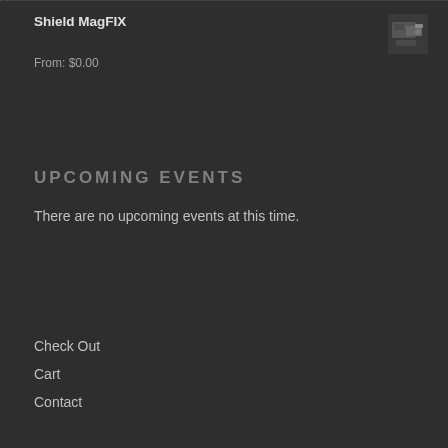Shield MagFIX
From: $0.00
[Figure (photo): Small product thumbnail image of Shield MagFIX, showing a firearm magazine component on a dark background]
UPCOMING EVENTS
There are no upcoming events at this time.
Check Out
Cart
Contact